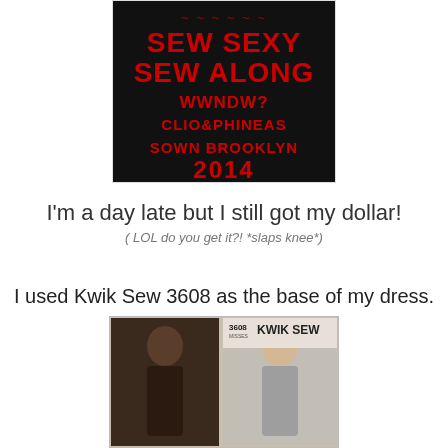[Figure (illustration): Black background poster with red bold text reading: SEW SEXY SEW ALONG WWNDW? CLIO&PHINEAS SOWN BROOKLYN 2014]
I'm a day late but I still got my dollar!
( LOL do you get it?! *slaps knee*)
I used Kwik Sew 3608 as the base of my dress.
[Figure (photo): Kwik Sew pattern #3608 for misses, showing two women models on the pattern envelope cover]